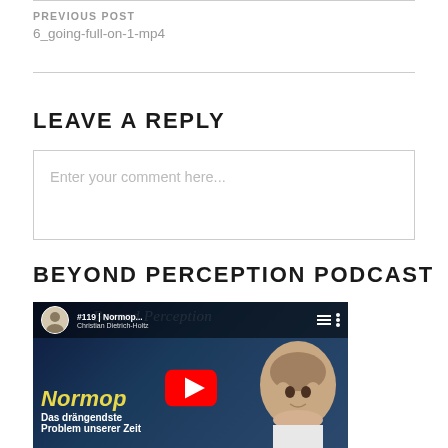PREVIOUS POST
6_going-full-on-1-mp4
LEAVE A REPLY
Enter your comment here...
BEYOND PERCEPTION PODCAST
[Figure (screenshot): YouTube video thumbnail for Beyond Perception Podcast episode #119 | Normop... by Christian Dietrich-Holtz, showing a bald man and text 'Das drängendste Problem unserer Zeit']